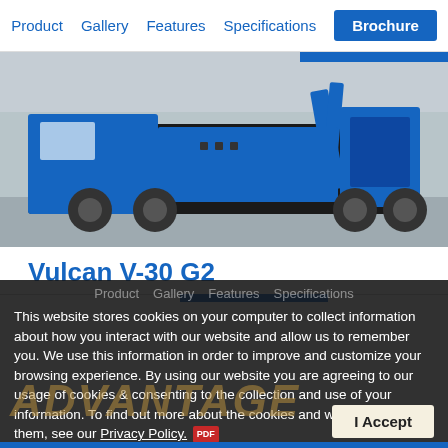Product  Gallery  Features  Specifications  Brochure
[Figure (photo): Blue and black heavy-duty Vulcan V-30 G2 tow truck / rotator photographed from the rear-right angle on a parking lot, showing the crane arm and equipment.]
Vulcan V-30 G2
Product  Gallery  Features  Specifications
This website stores cookies on your computer to collect information about how you interact with our website and allow us to remember you. We use this information in order to improve and customize your browsing experience. By using our website you are agreeing to our usage of cookies & consenting to the collection and use of your information. To find out more about the cookies and we how we use them, see our Privacy Policy. [PDF]
ADVANTAGE
I Accept